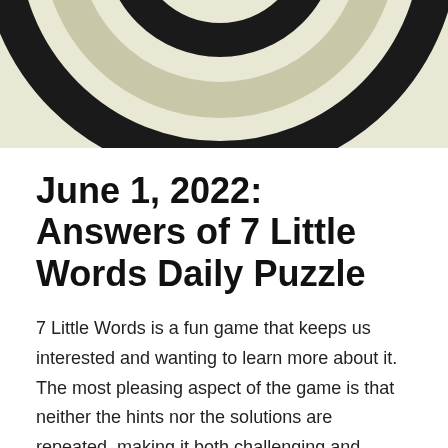[Figure (illustration): Partial view of a circular target/bullseye graphic with concentric rings in dark and light tones on a light olive/tan background]
June 1, 2022: Answers of 7 Little Words Daily Puzzle
7 Little Words is a fun game that keeps us interested and wanting to learn more about it. The most pleasing aspect of the game is that neither the hints nor the solutions are repeated, making it both challenging and exciting. The app will provide 7 clues, 7 mystery words, and 20 tiles in the 7 Little Words Daily Puzzles. To